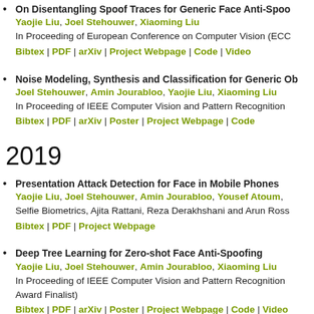On Disentangling Spoof Traces for Generic Face Anti-Spoofing
Yaojie Liu, Joel Stehouwer, Xiaoming Liu
In Proceeding of European Conference on Computer Vision (ECC...
Bibtex | PDF | arXiv | Project Webpage | Code | Video
Noise Modeling, Synthesis and Classification for Generic Ob...
Joel Stehouwer, Amin Jourabloo, Yaojie Liu, Xiaoming Liu
In Proceeding of IEEE Computer Vision and Pattern Recognition...
Bibtex | PDF | arXiv | Poster | Project Webpage | Code
2019
Presentation Attack Detection for Face in Mobile Phones
Yaojie Liu, Joel Stehouwer, Amin Jourabloo, Yousef Atoum, ...
Selfie Biometrics, Ajita Rattani, Reza Derakhshani and Arun Ross...
Bibtex | PDF | Project Webpage
Deep Tree Learning for Zero-shot Face Anti-Spoofing
Yaojie Liu, Joel Stehouwer, Amin Jourabloo, Xiaoming Liu
In Proceeding of IEEE Computer Vision and Pattern Recognition... Award Finalist)
Bibtex | PDF | arXiv | Poster | Project Webpage | Code | Video